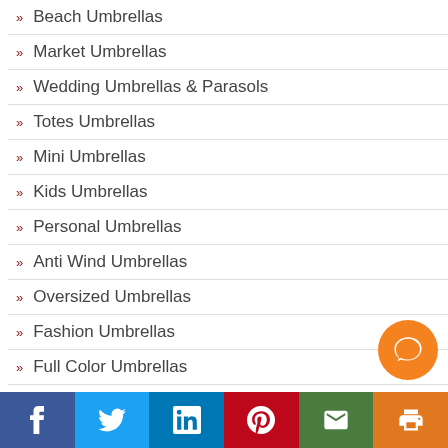Beach Umbrellas
Market Umbrellas
Wedding Umbrellas & Parasols
Totes Umbrellas
Mini Umbrellas
Kids Umbrellas
Personal Umbrellas
Anti Wind Umbrellas
Oversized Umbrellas
Fashion Umbrellas
Full Color Umbrellas
24 Hour Service